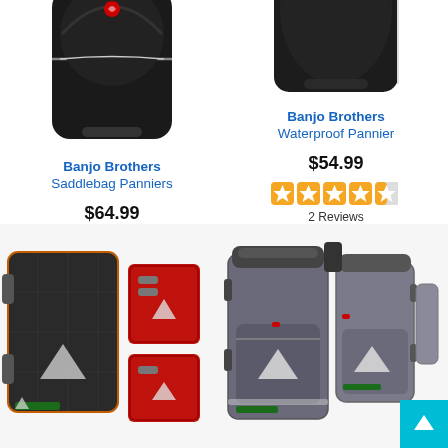[Figure (photo): Banjo Brothers Saddlebag Panniers - black bicycle pannier bags]
Banjo Brothers Saddlebag Panniers
$64.99
[Figure (photo): Banjo Brothers Waterproof Pannier - black bicycle pannier bag]
Banjo Brothers Waterproof Pannier
$54.99
2 Reviews
[Figure (photo): Axiom bicycle pannier bag set - dark with red accessories]
[Figure (photo): Axiom bicycle double pannier bag - grey]